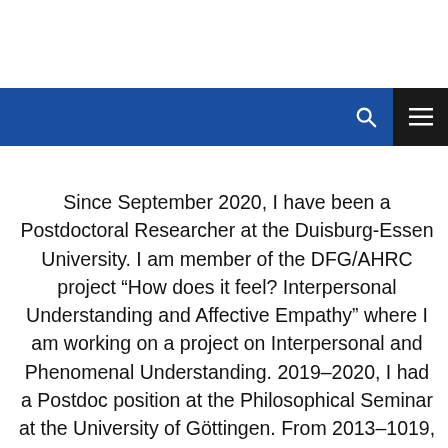Navigation bar with search and menu icons
Since September 2020, I have been a Postdoctoral Researcher at the Duisburg-Essen University. I am member of the DFG/AHRC project “How does it feel? Interpersonal Understanding and Affective Empathy” where I am working on a project on Interpersonal and Phenomenal Understanding. 2019–2020, I had a Postdoc position at the Philosophical Seminar at the University of Göttingen. From 2013–1019, I had a postdoc position and was a member of the Junior Research Group “Language, Cognition and Text” at the Graduate School of Humanities at the University of